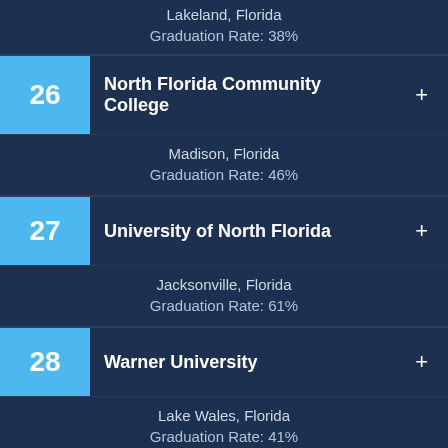Lakeland, Florida
Graduation Rate: 38%
26 - North Florida Community College, Madison, Florida, Graduation Rate: 46%
27 - University of North Florida, Jacksonville, Florida, Graduation Rate: 61%
28 - Warner University, Lake Wales, Florida, Graduation Rate: 41%